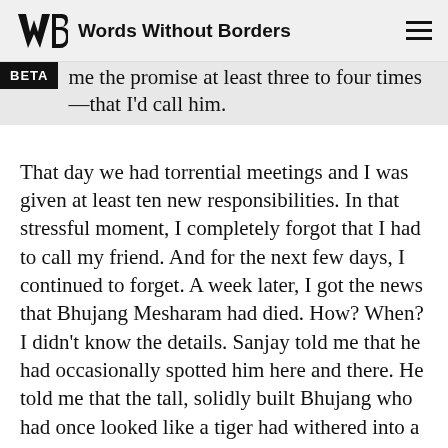Words Without Borders
me the promise at least three to four times —that I'd call him.
That day we had torrential meetings and I was given at least ten new responsibilities. In that stressful moment, I completely forgot that I had to call my friend. And for the next few days, I continued to forget. A week later, I got the news that Bhujang Mesharam had died. How? When? I didn't know the details. Sanjay told me that he had occasionally spotted him here and there. He told me that the tall, solidly built Bhujang who had once looked like a tiger had withered into a reed. Heaven knows what malady had devoured him!